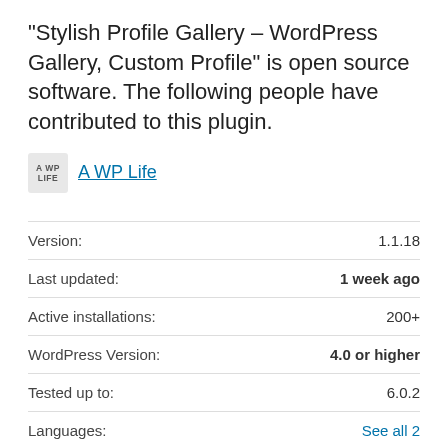“Stylish Profile Gallery – WordPress Gallery, Custom Profile” is open source software. The following people have contributed to this plugin.
A WP Life
|  |  |
| --- | --- |
| Version: | 1.1.18 |
| Last updated: | 1 week ago |
| Active installations: | 200+ |
| WordPress Version: | 4.0 or higher |
| Tested up to: | 6.0.2 |
| Languages: | See all 2 |
| Tags: | Instagram   Instagram Profile   wordpress image gallery |